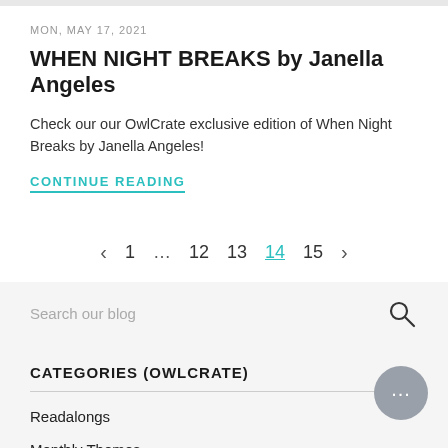MON, MAY 17, 2021
WHEN NIGHT BREAKS by Janella Angeles
Check our our OwlCrate exclusive edition of When Night Breaks by Janella Angeles!
CONTINUE READING
< 1 … 12 13 14 15 >
Search our blog
CATEGORIES (OWLCRATE)
Readalongs
Monthly Themes